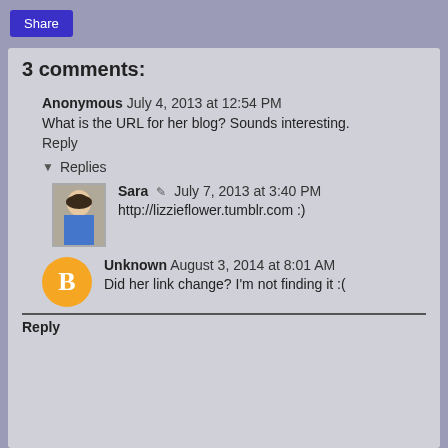Share
3 comments:
Anonymous July 4, 2013 at 12:54 PM
What is the URL for her blog? Sounds interesting.
Reply
Replies
Sara July 7, 2013 at 3:40 PM
http://lizzieflower.tumblr.com :)
Unknown August 3, 2014 at 8:01 AM
Did her link change? I'm not finding it :(
Reply